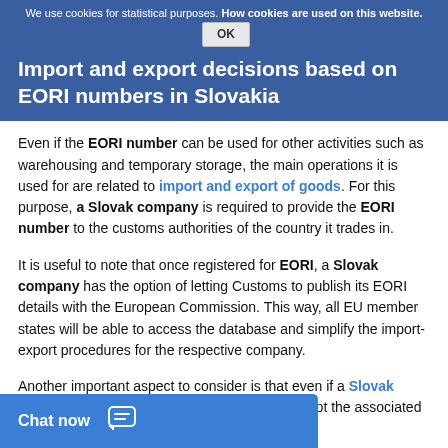We use cookies for statistical purposes. How cookies are used on this website. OK
Import and export decisions based on EORI numbers in Slovakia
Even if the EORI number can be used for other activities such as warehousing and temporary storage, the main operations it is used for are related to import and export of goods. For this purpose, a Slovak company is required to provide the EORI number to the customs authorities of the country it trades in.
It is useful to note that once registered for EORI, a Slovak company has the option of letting Customs to publish its EORI details with the European Commission. This way, all EU member states will be able to access the database and simplify the import-export procedures for the respective company.
Another important aspect to consider is that even if a Slovak company has an EORI number, it doesn't exempt the associated to the Slovakia. Moreover,